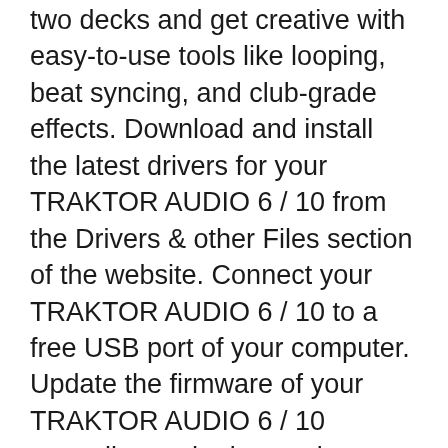two decks and get creative with easy-to-use tools like looping, beat syncing, and club-grade effects. Download and install the latest drivers for your TRAKTOR AUDIO 6 / 10 from the Drivers & other Files section of the website. Connect your TRAKTOR AUDIO 6 / 10 to a free USB port of your computer. Update the firmware of your TRAKTOR AUDIO 6 / 10 according to the instructions given in this article. Open the Traktor Audio 6 / 10 Control Panel:
TRAKTOR KONTROL S2 provides you with two physical Decks. The left Deck on your S2 controls Deck A in the software and the right Deck controls Deck B in the software. Additionally, you